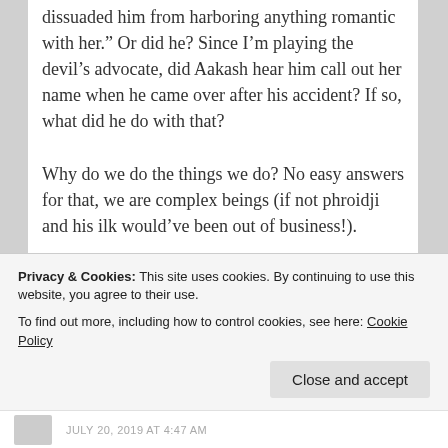dissuaded him from harboring anything romantic with her.” Or did he? Since I’m playing the devil’s advocate, did Aakash hear him call out her name when he came over after his accident? If so, what did he do with that?

Why do we do the things we do? No easy answers for that, we are complex beings (if not phroidji and his ilk would’ve been out of business!).
★ Liked by 7 people
Privacy & Cookies: This site uses cookies. By continuing to use this website, you agree to their use.
To find out more, including how to control cookies, see here: Cookie Policy
Close and accept
JULY 20, 2019 AT 4:47 AM